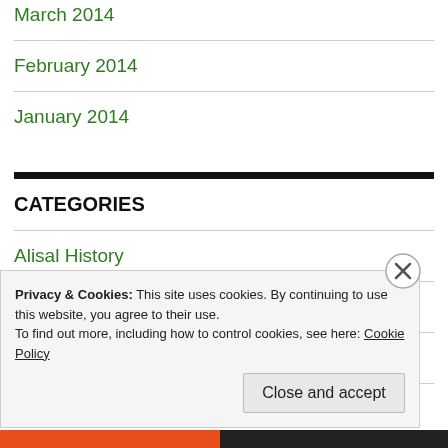March 2014
February 2014
January 2014
CATEGORIES
Alisal History
Alisal Staff
Contests and Fun
Corporate Events
Privacy & Cookies: This site uses cookies. By continuing to use this website, you agree to their use.
To find out more, including how to control cookies, see here: Cookie Policy
Close and accept